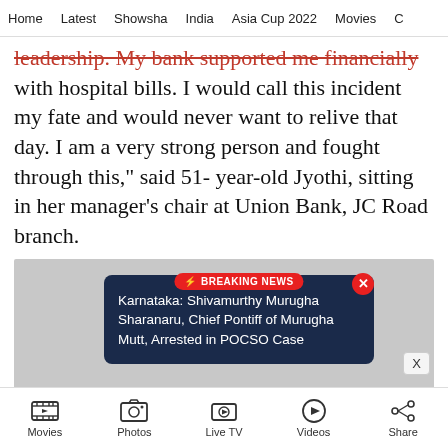Home  Latest  Showsha  India  Asia Cup 2022  Movies  C
leadership. My bank supported me financially with hospital bills. I would call this incident my fate and would never want to relive that day. I am a very strong person and fought through this," said 51- year-old Jyothi, sitting in her manager's chair at Union Bank, JC Road branch.
[Figure (screenshot): Breaking News popup overlay on a grey image area. Popup has dark navy background with red 'BREAKING NEWS' badge and text: 'Karnataka: Shivamurthy Murugha Sharanaru, Chief Pontiff of Murugha Mutt, Arrested in POCSO Case'. Red X close button top right.]
Movies  Photos  Live TV  Videos  Share